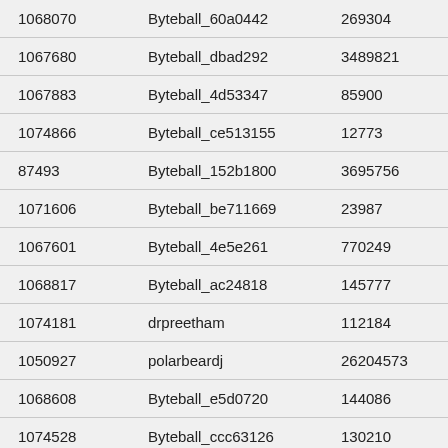| 1068070 | Byteball_60a0442 | 269304 | 6695… |
| 1067680 | Byteball_dbad292 | 3489821 | 6688… |
| 1067883 | Byteball_4d53347 | 85900 | 6672… |
| 1074866 | Byteball_ce513155 | 12773 | 6662… |
| 87493 | Byteball_152b1800 | 3695756 | 6554… |
| 1071606 | Byteball_be711669 | 23987 | 6432… |
| 1067601 | Byteball_4e5e261 | 770249 | 6290… |
| 1068817 | Byteball_ac24818 | 145777 | 6280… |
| 1074181 | drpreetham | 112184 | 6268… |
| 1050927 | polarbeardj | 26204573 | 6154… |
| 1068608 | Byteball_e5d0720 | 144086 | 6094… |
| 1074528 | Byteball_ccc63126 | 130210 | 5973… |
| 187356 | Byteball_55f12612 | 144662 | 5956… |
| 1071998 | Byteball_b9452105 | 257977 | 5942… |
| 288011 | Byteball_861c258 | 2627953 | 5941… |
| 1067580 | Byteball_9dc5242 | 54387 | 5730… |